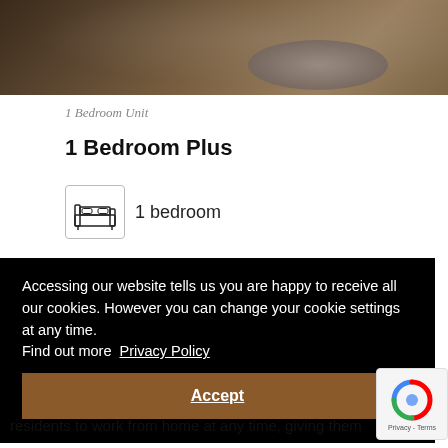[Figure (photo): Interior bedroom photo showing hardwood floors and a bed with rug]
1 Bedroom Unit
1 Bedroom Plus
[Figure (illustration): Bed icon with text '1 bedroom']
Accessing our website tells us you are happy to receive all our cookies. However you can change your cookie settings at any time. Find out more Privacy Policy
Accept
residents to work from home at any time, giving them